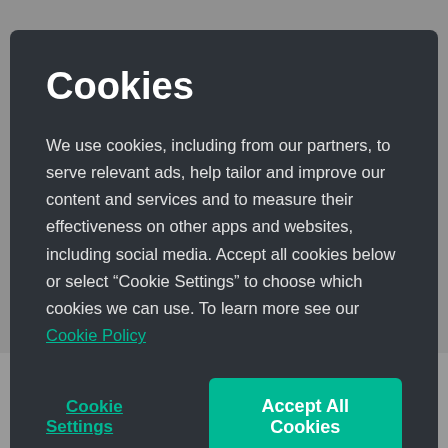Cookies
We use cookies, including from our partners, to serve relevant ads, help tailor and improve our content and services and to measure their effectiveness on other apps and websites, including social media. Accept all cookies below or select “Cookie Settings” to choose which cookies we can use. To learn more see our Cookie Policy
Cookie Settings
Accept All Cookies
Starbucks Blonde® Espresso Roast Nespresso® Capsules
Incredibly smooth and subtly sweet, with a